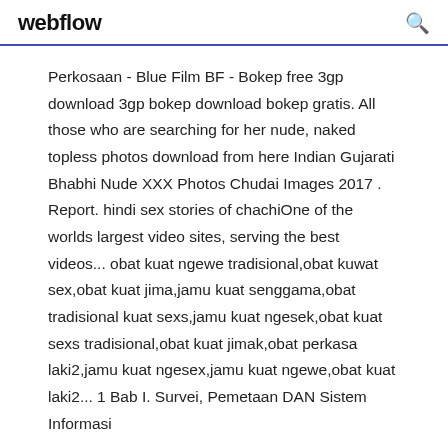webflow
Perkosaan - Blue Film BF - Bokep free 3gp download 3gp bokep download bokep gratis. All those who are searching for her nude, naked topless photos download from here Indian Gujarati Bhabhi Nude XXX Photos Chudai Images 2017 . Report. hindi sex stories of chachiOne of the worlds largest video sites, serving the best videos... obat kuat ngewe tradisional,obat kuwat sex,obat kuat jima,jamu kuat senggama,obat tradisional kuat sexs,jamu kuat ngesek,obat kuat sexs tradisional,obat kuat jimak,obat perkasa laki2,jamu kuat ngesex,jamu kuat ngewe,obat kuat laki2... 1 Bab I. Survei, Pemetaan DAN Sistem Informasi